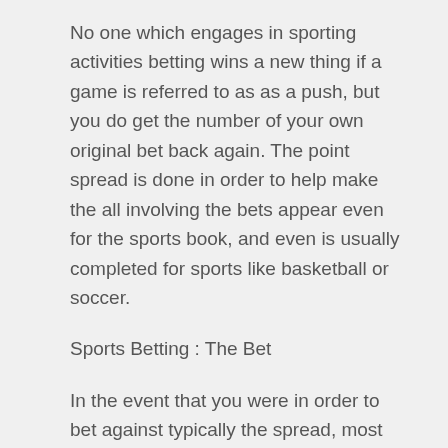No one which engages in sporting activities betting wins a new thing if a game is referred to as as a push, but you do get the number of your own original bet back again. The point spread is done in order to help make the all involving the bets appear even for the sports book, and even is usually completed for sports like basketball or soccer.
Sports Betting : The Bet
In the event that you were in order to bet against typically the spread, most most likely you would create a type of wager called an 11-10, or spread wager. By betting $11, you win $10,50 if the team's report covers the distributed. It is another way that the on-line sports book makes its money.
The over-under bet is likewise an 11-10 guess. With this kind of bet, the particular total score of the two teams of